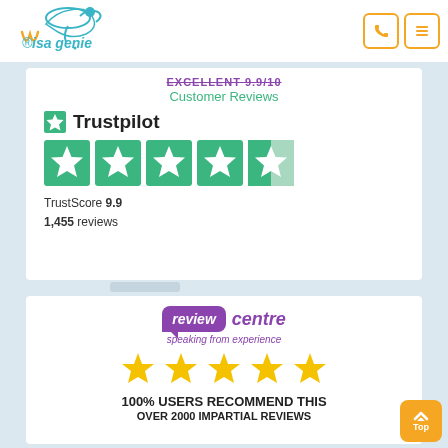[Figure (logo): Visa Genie logo with teal decorative figure and orange/teal text]
[Figure (logo): Phone icon button (orange border)]
[Figure (logo): Menu/hamburger icon button (orange border)]
EXCELLENT 9.9/10
Customer Reviews
[Figure (logo): Trustpilot logo with green star and bold Trustpilot text]
[Figure (other): Five Trustpilot green star rating boxes, 4.5 out of 5]
TrustScore 9.9
1,455 reviews
[Figure (logo): Review Centre logo - purple speech bubble with 'review' text and 'centre speaking from experience' in purple italic]
[Figure (other): Five yellow/gold star rating icons]
100% USERS RECOMMEND THIS
OVER 2000 IMPARTIAL REVIEWS